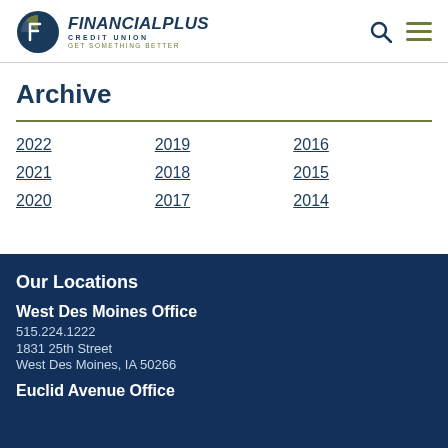[Figure (logo): Financial Plus Credit Union logo with circular icon and text 'FINANCIAL PLUS CREDIT UNION - GET SOMETHING BETTER']
Archive
2022
2021
2020
2019
2018
2017
2016
2015
2014
Our Locations
West Des Moines Office
515.224.1222
1831 25th Street
West Des Moines, IA 50266
Euclid Avenue Office